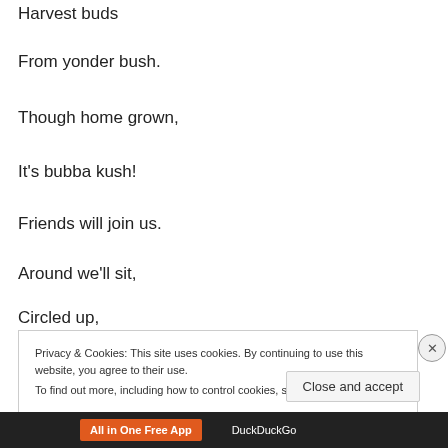Harvest buds
From yonder bush.
Though home grown,
It's bubba kush!
Friends will join us.
Around we'll sit,
Circled up,
Privacy & Cookies: This site uses cookies. By continuing to use this website, you agree to their use. To find out more, including how to control cookies, see here: Cookie Policy
Close and accept